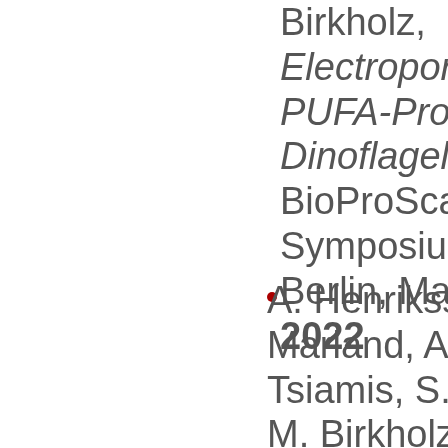Birkholz, Electroporation of PUFA-Producing Dinoflagellate, 7 BioProScale Symposium 2022, Berlin, March 2022
A. Henriksson, J. Marland, A. Tsiamis, S. Smith, M. Birkholz, System integration of a